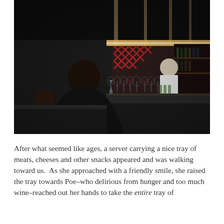[Figure (photo): Indoor restaurant or bar scene. In the foreground, a person with dark hair sits with their back to the camera wearing a dark jacket. Behind them is a bar counter with many wine glasses and bottles arranged on it. A person in white clothing (bartender or server) stands behind the bar. The back wall features decorative red and white cross/diamond patterned tiles and a shelf with bottles lit from above.]
After what seemed like ages, a server carrying a nice tray of meats, cheeses and other snacks appeared and was walking toward us.  As she approached with a friendly smile, she raised the tray towards Poe–who delirious from hunger and too much wine–reached out her hands to take the entire tray of